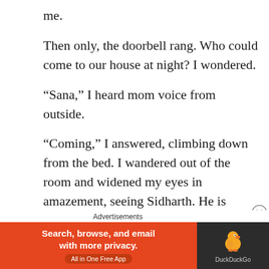me.
Then only, the doorbell rang. Who could come to our house at night? I wondered.
“Sana,” I heard mom voice from outside.
“Coming,” I answered, climbing down from the bed. I wandered out of the room and widened my eyes in amazement, seeing Sidharth. He is sitting in the hall with mom and dad. He messaged me that he’s still busy. Oh! He wanted to surprise me. He’s the best. He knows very well how to bring a smile on my face.
Advertisements
[Figure (screenshot): DuckDuckGo advertisement banner: orange left panel with text 'Search, browse, and email with more privacy. All in One Free App' and dark right panel with DuckDuckGo duck logo and brand name.]